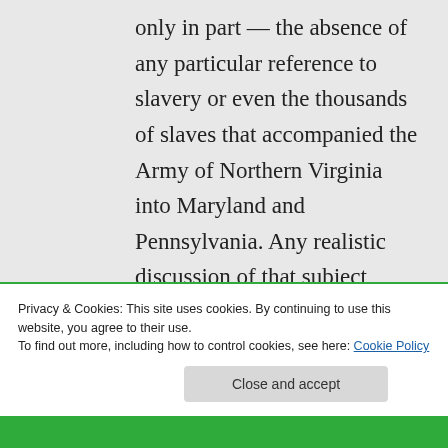only in part — the absence of any particular reference to slavery or even the thousands of slaves that accompanied the Army of Northern Virginia into Maryland and Pennsylvania. Any realistic discussion of that subject would necessarily reflect badly on the characters that the film
Privacy & Cookies: This site uses cookies. By continuing to use this website, you agree to their use.
To find out more, including how to control cookies, see here: Cookie Policy
Close and accept